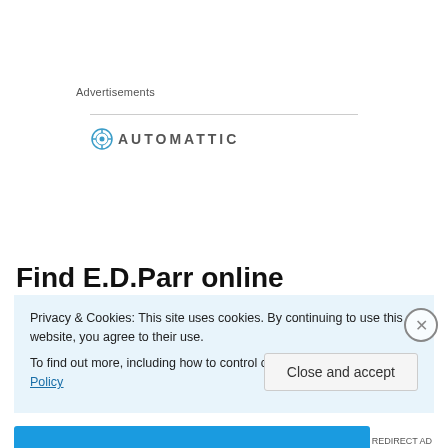Advertisements
[Figure (logo): Automattic logo — stylized compass/target icon in blue followed by 'AUTOMATTIC' in grey uppercase letters]
Find E.D.Parr online
Privacy & Cookies: This site uses cookies. By continuing to use this website, you agree to their use.
To find out more, including how to control cookies, see here: Cookie Policy